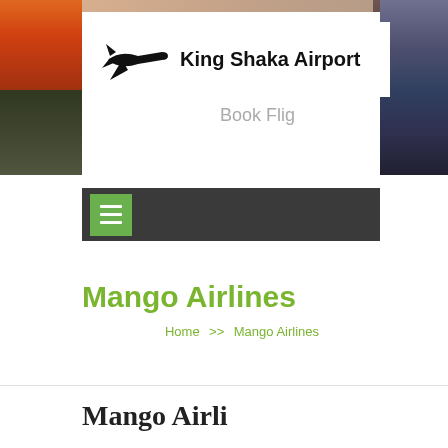[Figure (photo): Website header showing King Shaka Airport. Left and right sides show airport photography (sunset sky/tarmac on left, aircraft at gate on right). Center white card displays a black airplane silhouette icon and bold text 'King Shaka Airport' with greyed-out 'Book Flig' text below (partially cut off).]
[Figure (screenshot): Dark grey navigation bar with a green hamburger menu button (three white horizontal lines) on the left.]
Mango Airlines
Home >> Mango Airlines
Mango Airli...